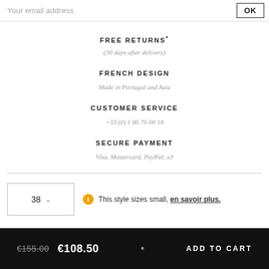Your email address
OK
FREE RETURNS*
(30 days after delivery)
FRENCH DESIGN
Made in Portugal and Asia
CUSTOMER SERVICE
+33 (0) 1 86 76 08 18
SECURE PAYMENT
Visa, Mastercard, PayPal, x3
38
This style sizes small, en savoir plus.
€155.00  €108.50  •  ADD TO CART